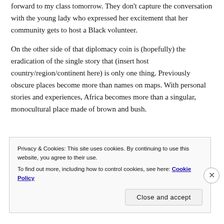forward to my class tomorrow. They don't capture the conversation with the young lady who expressed her excitement that her community gets to host a Black volunteer.
On the other side of that diplomacy coin is (hopefully) the eradication of the single story that (insert host country/region/continent here) is only one thing. Previously obscure places become more than names on maps. With personal stories and experiences, Africa becomes more than a singular, monocultural place made of brown and bush.
Privacy & Cookies: This site uses cookies. By continuing to use this website, you agree to their use.
To find out more, including how to control cookies, see here: Cookie Policy